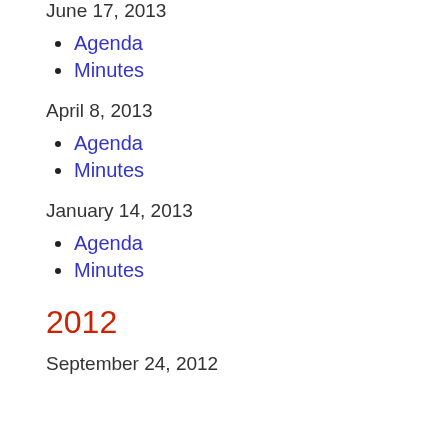June 17, 2013
Agenda
Minutes
April 8, 2013
Agenda
Minutes
January 14, 2013
Agenda
Minutes
2012
September 24, 2012